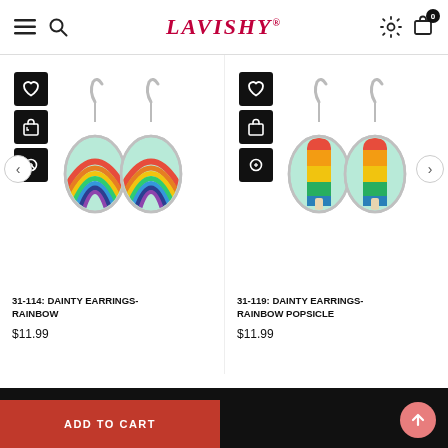LAVISHY® — navigation header with hamburger menu, search, settings, and cart (0 items)
[Figure (photo): Product photo of DAINTY EARRINGS-RAINBOW: silver hook earrings with oval mint-green enamel pendants showing rainbow design]
[Figure (photo): Product photo of DAINTY EARRINGS-RAINBOW POPSICLE: silver hook earrings with oval mint-green enamel pendants showing rainbow popsicle design]
31-114: DAINTY EARRINGS-RAINBOW
$11.99
31-119: DAINTY EARRINGS-RAINBOW POPSICLE
$11.99
ADD TO CART